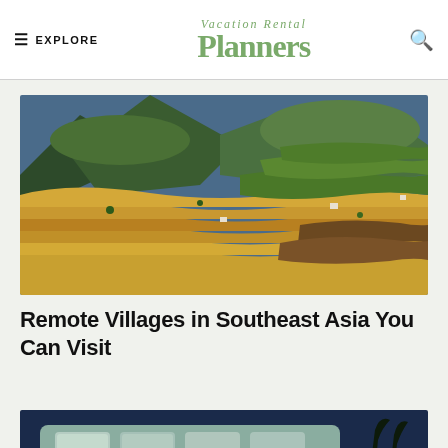≡ EXPLORE  |  Vacation Rental Planners  |  🔍
[Figure (photo): Aerial view of terraced rice fields in Southeast Asia with golden and green patterns on mountainside landscape]
Remote Villages in Southeast Asia You Can Visit
[Figure (photo): Partial view of a vacation rental or travel vehicle exterior at dusk or night with palm trees]